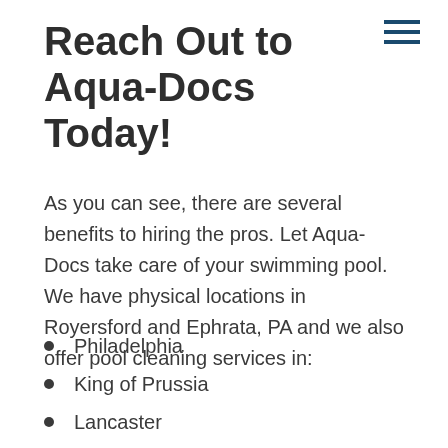Reach Out to Aqua-Docs Today!
As you can see, there are several benefits to hiring the pros. Let Aqua-Docs take care of your swimming pool. We have physical locations in Royersford and Ephrata, PA and we also offer pool cleaning services in:
Philadelphia
King of Prussia
Lancaster
Reading